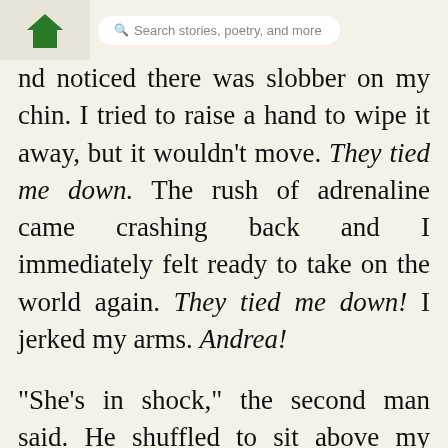Search stories, poetry, and more
nd noticed there was slobber on my chin. I tried to raise a hand to wipe it away, but it wouldn't move. They tied me down. The rush of adrenaline came crashing back and I immediately felt ready to take on the world again. They tied me down! I jerked my arms. Andrea!
“She’s in shock,” the second man said. He shuffled to sit above my head and placed his hands under my neck to steady my neck. “It’s okay